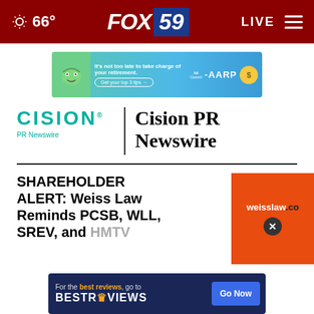66° FOX 59 LIVE
[Figure (other): AARP advertisement banner — It's not too late to take charge of your retirement. Get your top 3 tips.]
[Figure (logo): Cision PR Newswire logo with teal CISION text and PR Newswire subtitle]
Cision PR Newswire
SHAREHOLDER ALERT: Weiss Law Reminds PCSB, WLL, SREV, and HMTV
[Figure (other): Weisslaw.co orange advertisement with close button]
[Figure (other): BestReviews advertisement — For the best reviews, go to BESTREVIEWS. Go Now button.]